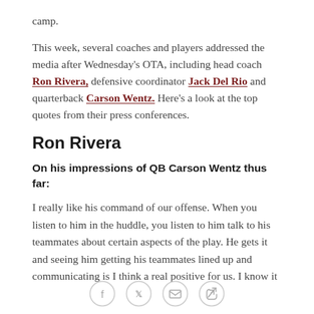camp.
This week, several coaches and players addressed the media after Wednesday's OTA, including head coach Ron Rivera, defensive coordinator Jack Del Rio and quarterback Carson Wentz. Here's a look at the top quotes from their press conferences.
Ron Rivera
On his impressions of QB Carson Wentz thus far:
I really like his command of our offense. When you listen to him in the huddle, you listen to him talk to his teammates about certain aspects of the play. He gets it and seeing him getting his teammates lined up and communicating is I think a real positive for us. I know it
[Figure (other): Social sharing icons: Facebook, Twitter, email, and link/bookmark buttons in circular outlines]